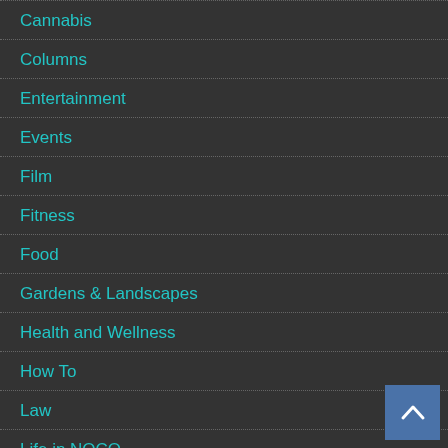Cannabis
Columns
Entertainment
Events
Film
Fitness
Food
Gardens & Landscapes
Health and Wellness
How To
Law
Life in NOCO
Local Culture, Arts & Community
Music News
New SCENE